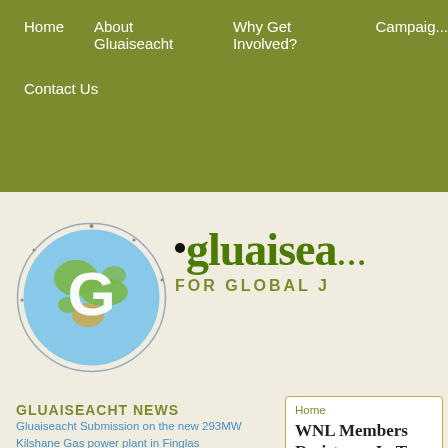Home | About Gluaiseacht | Why Get Involved? | Campaigns | Contact Us
[Figure (logo): Gluaiseacht for Global Justice logo: globe with G letter and circular text, alongside 'gluaiseacht FOR GLOBAL J...' wordmark]
GLUAISEACHT NEWS
Gluaiseacht Submission on the new 293MW Kilshane Gas power plant in Finglas
Gluaiseacht Submission against the new 299MW Gas power plant in
Home
WNL Members Resistance In T European Crisi...